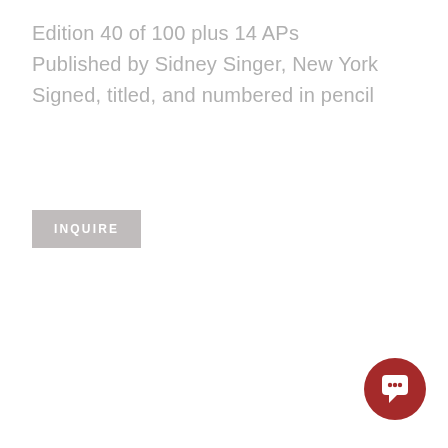Edition 40 of 100 plus 14 APs
Published by Sidney Singer, New York
Signed, titled, and numbered in pencil
INQUIRE
[Figure (illustration): Red circular chat/message icon button in bottom-right corner]